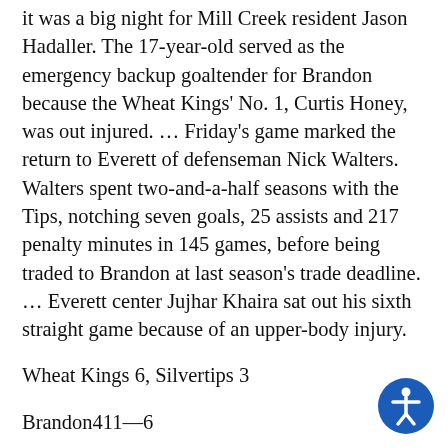it was a big night for Mill Creek resident Jason Hadaller. The 17-year-old served as the emergency backup goaltender for Brandon because the Wheat Kings' No. 1, Curtis Honey, was out injured. ... Friday's game marked the return to Everett of defenseman Nick Walters. Walters spent two-and-a-half seasons with the Tips, notching seven goals, 25 assists and 217 penalty minutes in 145 games, before being traded to Brandon at last season's trade deadline. ... Everett center Jujhar Khaira sat out his sixth straight game because of an upper-body injury.
Wheat Kings 6, Silvertips 3
Brandon411—6
Everett012—3
First Period—1, Brandon, Nejezchleb 9 (Bukarts,